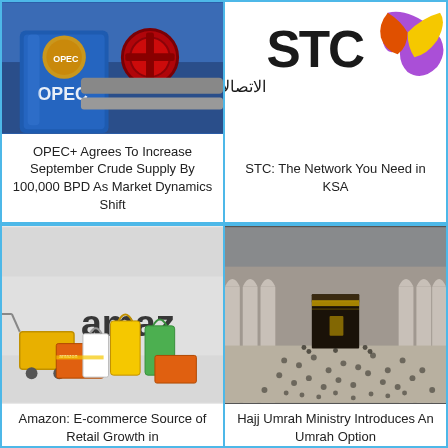[Figure (photo): OPEC branded blue barrel with red valve and industrial pipeline in the background]
OPEC+ Agrees To Increase September Crude Supply By 100,000 BPD As Market Dynamics Shift
[Figure (logo): STC (Saudi Telecom Company) logo with Arabic text and colorful swoosh]
STC: The Network You Need in KSA
[Figure (photo): Amazon branded shopping cart and colorful shopping bags]
Amazon: E-commerce Source of Retail Growth in
[Figure (photo): Aerial view of the Kaaba in Mecca surrounded by pilgrims]
Hajj Umrah Ministry Introduces An Umrah Option